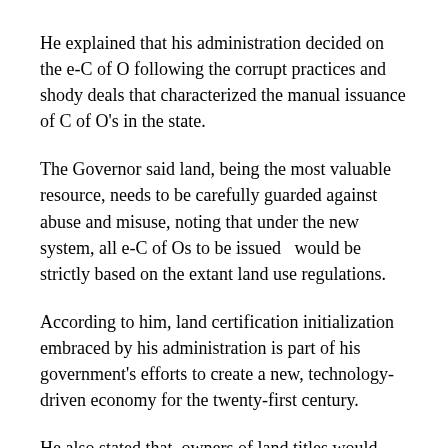He explained that his administration decided on the e-C of O following the corrupt practices and shody deals that characterized the manual issuance of C of O's in the state.
The Governor said land, being the most valuable resource, needs to be carefully guarded against abuse and misuse, noting that under the new system, all e-C of Os to be issued  would be strictly based on the extant land use regulations.
According to him, land certification initialization embraced by his administration is part of his government's efforts to create a new, technology-driven economy for the twenty-first century.
He also stated that, owners of land titles would